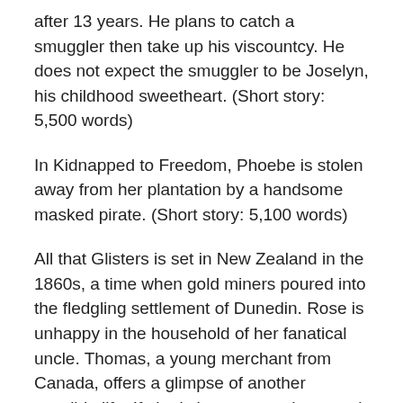after 13 years. He plans to catch a smuggler then take up his viscountcy. He does not expect the smuggler to be Joselyn, his childhood sweetheart. (Short story: 5,500 words)
In Kidnapped to Freedom, Phoebe is stolen away from her plantation by a handsome masked pirate. (Short story: 5,100 words)
All that Glisters is set in New Zealand in the 1860s, a time when gold miners poured into the fledgling settlement of Dunedin. Rose is unhappy in the household of her fanatical uncle. Thomas, a young merchant from Canada, offers a glimpse of another possible life. If she is brave enough to reach for it. (Short story: 13,000 words)
The Prisoners of Wyvern Castle is a gothic historical romance set in the world of my novels and novella. Rupert has been imprisoned by his